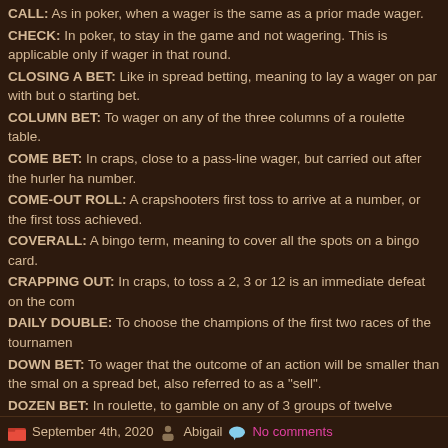CALL: As in poker, when a wager is the same as a prior made wager.
CHECK: In poker, to stay in the game and not wagering. This is applicable only if wager in that round.
CLOSING A BET: Like in spread betting, meaning to lay a wager on par with but o starting bet.
COLUMN BET: To wager on any of the three columns of a roulette table.
COME BET: In craps, close to a pass-line wager, but carried out after the hurler ha number.
COME-OUT ROLL: A crapshooters first toss to arrive at a number, or the first toss achieved.
COVERALL: A bingo term, meaning to cover all the spots on a bingo card.
CRAPPING OUT: In craps, to toss a 2, 3 or 12 is an immediate defeat on the com
DAILY DOUBLE: To choose the champions of the first two races of the tournamen
DOWN BET: To wager that the outcome of an action will be smaller than the smal on a spread bet, also referred to as a "sell".
DOZEN BET: In roulette, to gamble on any of 3 groups of twelve numbers, 1-twelv
EACH WAY BET: A sports gamble, which means to gamble on a group or player to position in a match.
EVEN MONEY BET: A wager that pays the identical amount as gambled, ( 1-1 ).
EXACTA: wagering that two horses in a match will finish in the exact identical orde known as a " Perfecta ".
FIVE-NUMBER LINE BET: In roulette, a wager placed on a block of 5 numbers, su 00.
September 4th, 2020   Abigail   No comments